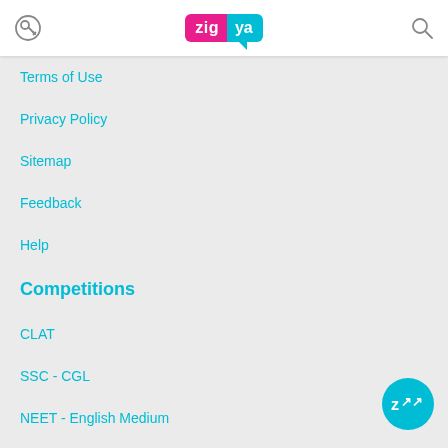Zigya
Terms of Use
Privacy Policy
Sitemap
Feedback
Help
Competitions
CLAT
SSC - CGL
NEET - English Medium
NEET - Gujarati Medium
JEE - English Medium